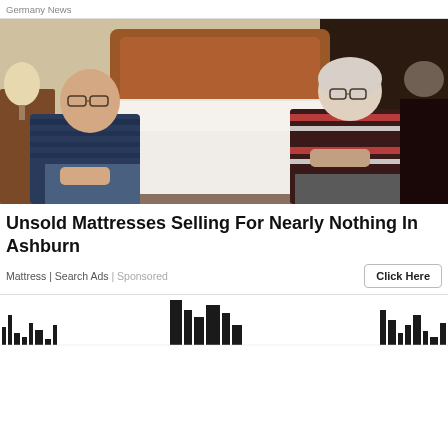Germany News
[Figure (photo): Two elderly people sitting on either side of a white mattress on a bed in a bedroom. The man on the left wears glasses and a dark striped polo shirt. The woman on the right wears glasses and a red/black/white striped top. There is a wooden headboard and bedside lamp visible.]
Unsold Mattresses Selling For Nearly Nothing In Ashburn
Mattress | Search Ads | Sponsored
[Figure (other): Bottom strip showing partial view of a city skyline / bar chart silhouette in dark color against white background]